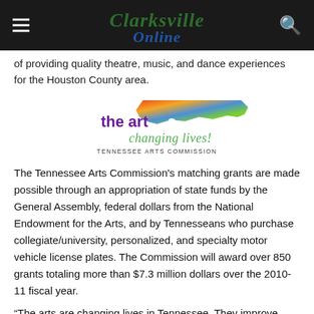Clarksville Online
of providing quality theatre, music, and dance experiences for the Houston County area.
[Figure (logo): Tennessee Arts Commission logo with colorful state shape and text 'the arts changing lives! TENNESSEE ARTS COMMISSION']
The Tennessee Arts Commission's matching grants are made possible through an appropriation of state funds by the General Assembly, federal dollars from the National Endowment for the Arts, and by Tennesseans who purchase collegiate/university, personalized, and specialty motor vehicle license plates. The Commission will award over 850 grants totaling more than $7.3 million dollars over the 2010-11 fiscal year.
“The arts are changing lives in Tennessee. They improve